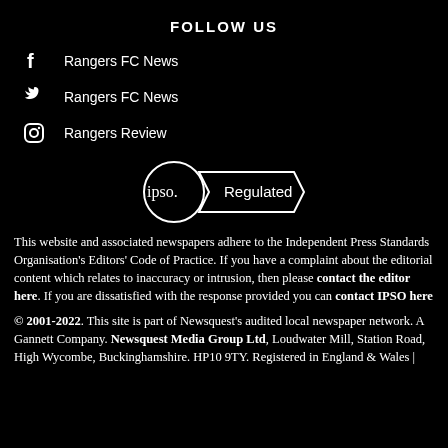FOLLOW US
f  Rangers FC News
Twitter  Rangers FC News
Instagram  Rangers Review
[Figure (logo): IPSO Regulated badge - circle with 'ipso.' text and ribbon banner saying 'Regulated']
This website and associated newspapers adhere to the Independent Press Standards Organisation's Editors' Code of Practice. If you have a complaint about the editorial content which relates to inaccuracy or intrusion, then please contact the editor here. If you are dissatisfied with the response provided you can contact IPSO here
© 2001-2022. This site is part of Newsquest's audited local newspaper network. A Gannett Company. Newsquest Media Group Ltd, Loudwater Mill, Station Road, High Wycombe, Buckinghamshire. HP10 9TY. Registered in England & Wales |